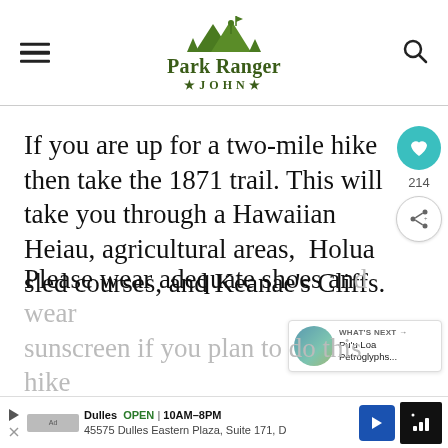Park Ranger John
If you are up for a two-mile hike then take the 1871 trail. This will take you through a Hawaiian Heiau, agricultural areas, Holua sled courses, and Keanae's Cliffs.
Please wear adequate shoes and wear sunscreen if you plan to do this hike a...ont
WHAT'S NEXT → Pu'u Loa Petroglyphs...
Dulles OPEN | 10AM–8PM 45575 Dulles Eastern Plaza, Suite 171, D